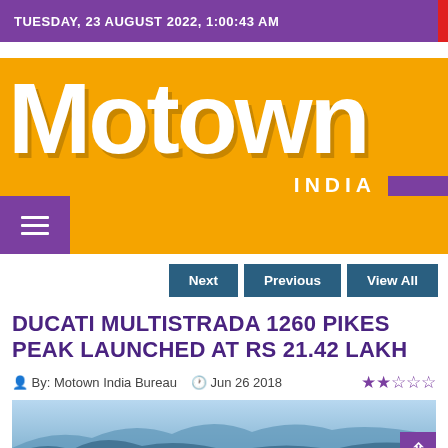TUESDAY, 23 AUGUST 2022, 1:00:43 AM
[Figure (logo): Motown India logo on orange background with hamburger menu and search icon]
Next  Previous  View All
DUCATI MULTISTRADA 1260 PIKES PEAK LAUNCHED AT RS 21.42 LAKH
By: Motown India Bureau   Jun 26 2018   ★★☆☆☆
[Figure (photo): Mountain landscape with blue sky and rocky peaks]